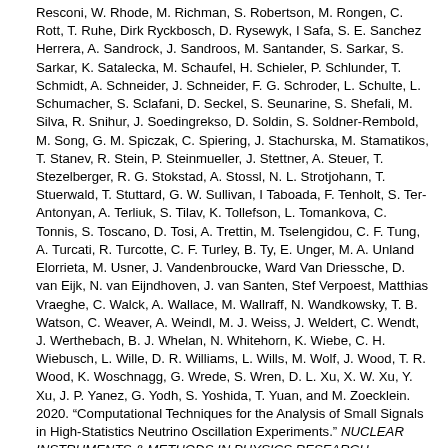Resconi, W. Rhode, M. Richman, S. Robertson, M. Rongen, C. Rott, T. Ruhe, Dirk Ryckbosch, D. Rysewyk, I Safa, S. E. Sanchez Herrera, A. Sandrock, J. Sandroos, M. Santander, S. Sarkar, S. Sarkar, K. Satalecka, M. Schaufel, H. Schieler, P. Schlunder, T. Schmidt, A. Schneider, J. Schneider, F. G. Schroder, L. Schulte, L. Schumacher, S. Sclafani, D. Seckel, S. Seunarine, S. Shefali, M. Silva, R. Snihur, J. Soedingrekso, D. Soldin, S. Soldner-Rembold, M. Song, G. M. Spiczak, C. Spiering, J. Stachurska, M. Stamatikos, T. Stanev, R. Stein, P. Steinmueller, J. Stettner, A. Steuer, T. Stezelberger, R. G. Stokstad, A. Stossl, N. L. Strotjohann, T. Stuerwald, T. Stuttard, G. W. Sullivan, I Taboada, F. Tenholt, S. Ter-Antonyan, A. Terliuk, S. Tilav, K. Tollefson, L. Tomankova, C. Tonnis, S. Toscano, D. Tosi, A. Trettin, M. Tselengidou, C. F. Tung, A. Turcati, R. Turcotte, C. F. Turley, B. Ty, E. Unger, M. A. Unland Elorrieta, M. Usner, J. Vandenbroucke, Ward Van Driessche, D. van Eijk, N. van Eijndhoven, J. van Santen, Stef Verpoest, Matthias Vraeghe, C. Walck, A. Wallace, M. Wallraff, N. Wandkowsky, T. B. Watson, C. Weaver, A. Weindl, M. J. Weiss, J. Weldert, C. Wendt, J. Werthebach, B. J. Whelan, N. Whitehorn, K. Wiebe, C. H. Wiebusch, L. Wille, D. R. Williams, L. Wills, M. Wolf, J. Wood, T. R. Wood, K. Woschnagg, G. Wrede, S. Wren, D. L. Xu, X. W. Xu, Y. Xu, J. P. Yanez, G. Yodh, S. Yoshida, T. Yuan, and M. Zoecklein. 2020. "Computational Techniques for the Analysis of Small Signals in High-Statistics Neutrino Oscillation Experiments." NUCLEAR INSTRUMENTS & METHODS IN PHYSICS RESEARCH SECTION A-ACCELERATORS SPECTROMETERS DETECTORS AND ASSOCIATED EQUIPMENT.